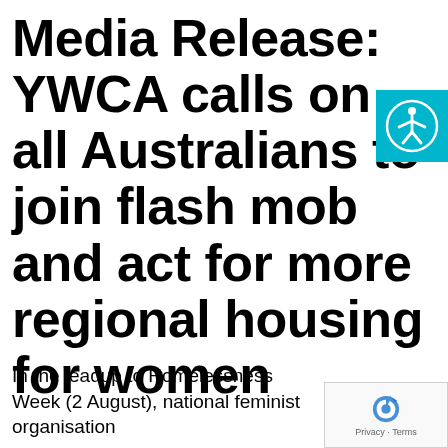Media Release: YWCA calls on all Australians to join flash mob and act for more regional housing for women
[Figure (logo): Accessibility icon — white person with arms out on cyan/teal background]
In the leadup to Homelessness Week (2 August), national feminist organisation
[Figure (logo): Google reCAPTCHA badge with Privacy and Terms links]